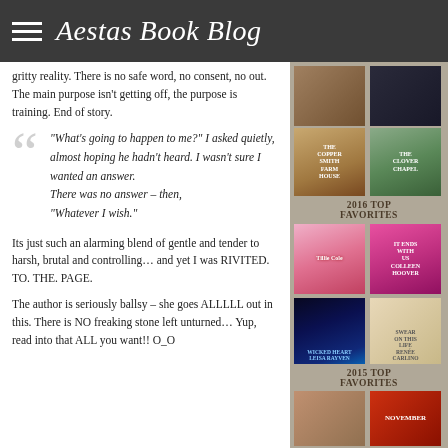Aestas Book Blog
gritty reality. There is no safe word, no consent, no out. The main purpose isn't getting off, the purpose is training. End of story.
"What's going to happen to me?" I asked quietly, almost hoping he hadn't heard. I wasn't sure I wanted an answer.
There was no answer – then, "Whatever I wish."
Its just such an alarming blend of gentle and tender to harsh, brutal and controlling… and yet I was RIVITED. TO. THE. PAGE.
The author is seriously ballsy – she goes ALLLLL out in this. There is NO freaking stone left unturned… Yup, read into that ALL you want!! O_O
[Figure (illustration): Sidebar with book covers grid and section labels '2016 TOP FAVORITES' and '2015 TOP FAVORITES' on a tan background]